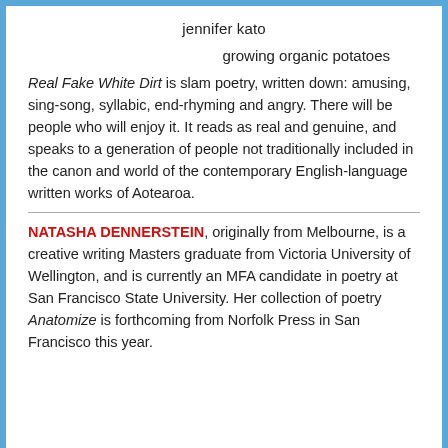jennifer kato
growing organic potatoes
Real Fake White Dirt is slam poetry, written down: amusing, sing-song, syllabic, end-rhyming and angry. There will be people who will enjoy it. It reads as real and genuine, and speaks to a generation of people not traditionally included in the canon and world of the contemporary English-language written works of Aotearoa.
NATASHA DENNERSTEIN, originally from Melbourne, is a creative writing Masters graduate from Victoria University of Wellington, and is currently an MFA candidate in poetry at San Francisco State University. Her collection of poetry Anatomize is forthcoming from Norfolk Press in San Francisco this year.